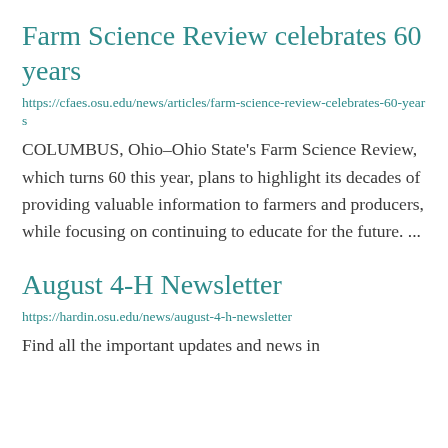Farm Science Review celebrates 60 years
https://cfaes.osu.edu/news/articles/farm-science-review-celebrates-60-years
COLUMBUS, Ohio–Ohio State's Farm Science Review, which turns 60 this year, plans to highlight its decades of providing valuable information to farmers and producers, while focusing on continuing to educate for the future. ...
August 4-H Newsletter
https://hardin.osu.edu/news/august-4-h-newsletter
Find all the important updates and news in